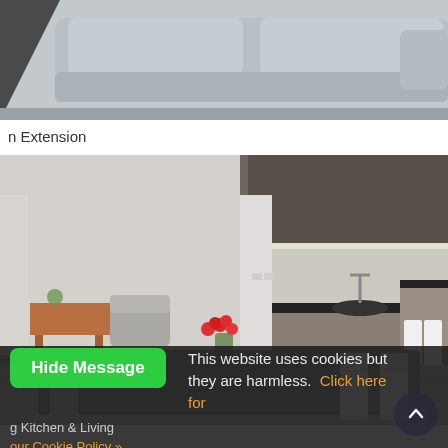[Figure (photo): Partial view of a grey upholstered sofa/couch, cropped at the top of the page]
n Extension
[Figure (photo): Interior photo of a modern open-plan kitchen and dining room. A large grey dining table is surrounded by grey and white chairs. There is a vase of orange/red roses on the table. In the background, a modern dark kitchen with under-cabinet lighting is visible, along with grey armchairs and a wooden console table.]
This website uses cookies but they are harmless.  Click here for
g Kitchen & Living
our Cookie Policy »